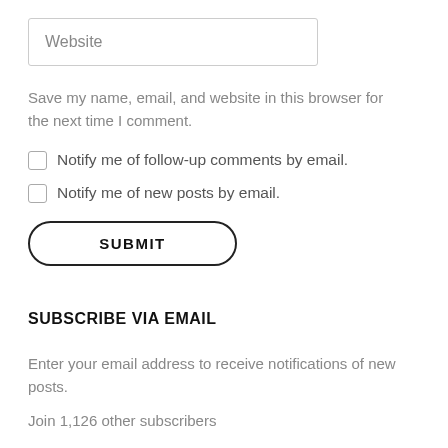Website
Save my name, email, and website in this browser for the next time I comment.
Notify me of follow-up comments by email.
Notify me of new posts by email.
SUBMIT
SUBSCRIBE VIA EMAIL
Enter your email address to receive notifications of new posts.
Join 1,126 other subscribers